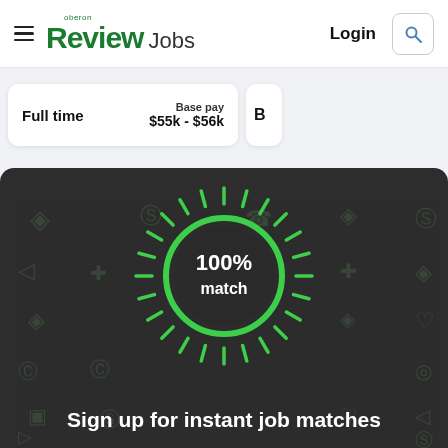☰ oberon Review Jobs   Login 🔍
Full time   Base pay $55k - $56k   B
[Figure (infographic): Dark panel with 100% match circular badge surrounded by radiating tick marks on a dark background with faint job-category icons, and text 'Sign up for instant job matches']